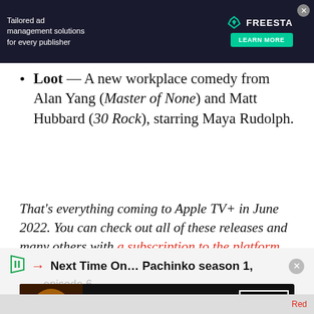[Figure (screenshot): Advertisement banner for Freesta: 'Tailored ad management solutions for every publisher' with Learn More button on dark background]
Loot — A new workplace comedy from Alan Yang (Master of None) and Matt Hubbard (30 Rock), starring Maya Rudolph.
That's everything coming to Apple TV+ in June 2022. You can check out all of these releases and many others with a subscription to the platform.
Next Time On... Pachinko season 1, episode 6
[Figure (screenshot): Advertisement for Seamless food delivery with pizza image, Seamless logo and ORDER NOW button]